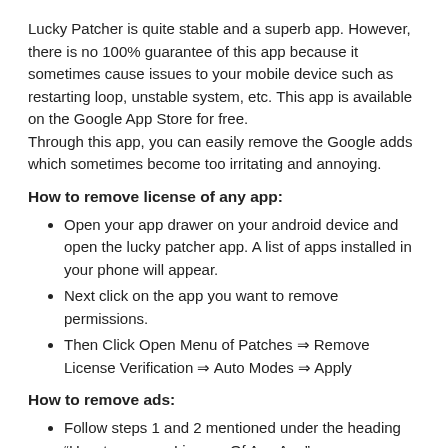Lucky Patcher is quite stable and a superb app. However, there is no 100% guarantee of this app because it sometimes cause issues to your mobile device such as restarting loop, unstable system, etc. This app is available on the Google App Store for free.
Through this app, you can easily remove the Google adds which sometimes become too irritating and annoying.
How to remove license of any app:
Open your app drawer on your android device and open the lucky patcher app. A list of apps installed in your phone will appear.
Next click on the app you want to remove permissions.
Then Click Open Menu of Patches ⇒ Remove License Verification ⇒ Auto Modes ⇒ Apply
How to remove ads:
Follow steps 1 and 2 mentioned under the heading “How to remove License Of Any App”.
Then Click Open Menu of Patches ⇒ Remove Google Ads